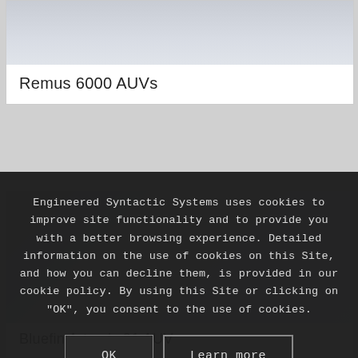[Figure (photo): Top portion of card showing Remus 6000 AUV image (light grey/blue tones)]
Remus 6000 AUVs
[Figure (photo): Card showing Bluefin Artemis 21 AUV image (light grey/blue tones, industrial background)]
Bluefin Artemis 21 AUV
Engineered Syntactic Systems uses cookies to improve site functionality and to provide you with a better browsing experience. Detailed information on the use of cookies on this Site, and how you can decline them, is provided in our cookie policy. By using this Site or clicking on "OK", you consent to the use of cookies.
OK
Learn more